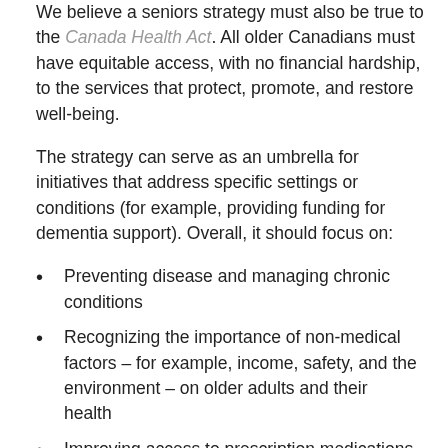We believe a seniors strategy must also be true to the Canada Health Act. All older Canadians must have equitable access, with no financial hardship, to the services that protect, promote, and restore well-being.
The strategy can serve as an umbrella for initiatives that address specific settings or conditions (for example, providing funding for dementia support). Overall, it should focus on:
Preventing disease and managing chronic conditions
Recognizing the importance of non-medical factors – for example, income, safety, and the environment – on older adults and their health
Improving access to prescription medications
Basing care on what patients want, on clinical